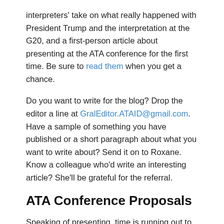interpreters' take on what really happened with President Trump and the interpretation at the G20, and a first-person article about presenting at the ATA conference for the first time. Be sure to read them when you get a chance.
Do you want to write for the blog? Drop the editor a line at GralEditor.ATAID@gmail.com. Have a sample of something you have published or a short paragraph about what you want to write about? Send it on to Roxane. Know a colleague who'd write an interesting article? She'll be grateful for the referral.
ATA Conference Proposals
Speaking of presenting, time is running out to get your proposals in to the ATA conference! If you want to discuss ideas, please come on over to the discussion…